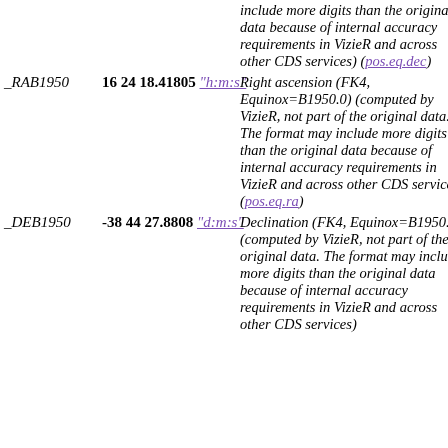| Name | Value | Description |
| --- | --- | --- |
|  |  | include more digits than the original data because of internal accuracy requirements in VizieR and across other CDS services) (pos.eq.dec) |
| _RAB1950 | 16 24 18.41805 "h:m:s" | Right ascension (FK4, Equinox=B1950.0) (computed by VizieR, not part of the original data. The format may include more digits than the original data because of internal accuracy requirements in VizieR and across other CDS services) (pos.eq.ra) |
| _DEB1950 | -38 44 27.8808 "d:m:s" | Declination (FK4, Equinox=B1950.0) (computed by VizieR, not part of the original data. The format may include more digits than the original data because of internal accuracy requirements in VizieR and across other CDS services) |